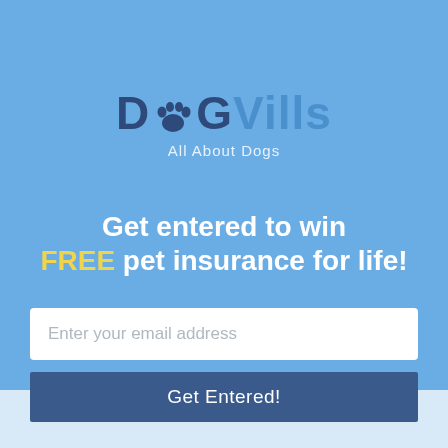[Figure (logo): DogVills logo with paw print icon replacing the 'o' in 'Dog', tagline 'All About Dogs' below]
Get entered to win FREE pet insurance for life!
Enter your email address
Get Entered!